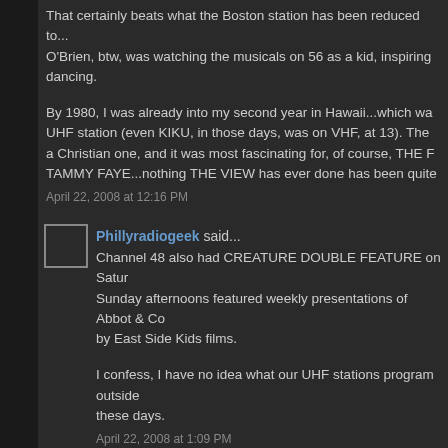That certainly beats what the Boston station has been reduced to... O'Brien, btw, was watching the musicals on 56 as a kid, inspiring dancing.
By 1980, I was already into my second year in Hawaii...which was a UHF station (even KIKU, in those days, was on VHF, at 13). The a Christian one, and it was most fascinating for, of course, THE R TAMMY FAYE...nothing THE VIEW has ever done has been quite
April 22, 2008 at 12:16 PM
Phillyradiogeek said...
Channel 48 also had CREATURE DOUBLE FEATURE on Saturdays. Sunday afternoons featured weekly presentations of Abbot & Cos by East Side Kids films.
I confess, I have no idea what our UHF stations program outside these days.
April 22, 2008 at 1:09 PM
Anonymous said...
With the local CBS-CW duopoly, the CW station 57 runs some su the dead of night (FRASIER and RENO 911), for those who just somewhat annoying trying to keep up with the syndicated drama INOEST/DA VINCI CITY HALL Usually running on Sunday aftern